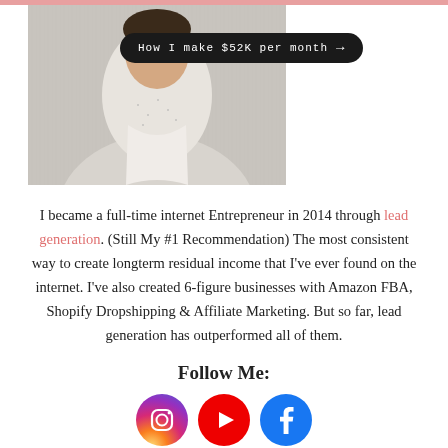[Figure (photo): Photo of a person partially visible, with a dark rounded-rectangle button overlay reading 'How I make $52K per month →']
I became a full-time internet Entrepreneur in 2014 through lead generation. (Still My #1 Recommendation) The most consistent way to create longterm residual income that I've ever found on the internet. I've also created 6-figure businesses with Amazon FBA, Shopify Dropshipping & Affiliate Marketing. But so far, lead generation has outperformed all of them.
Follow Me:
[Figure (illustration): Three social media icon circles: Instagram (gradient purple-orange), YouTube (red with play button), Facebook (blue with f logo)]
Best of the Week
Lead-gen Testimonials
Phil / August 21, 2022